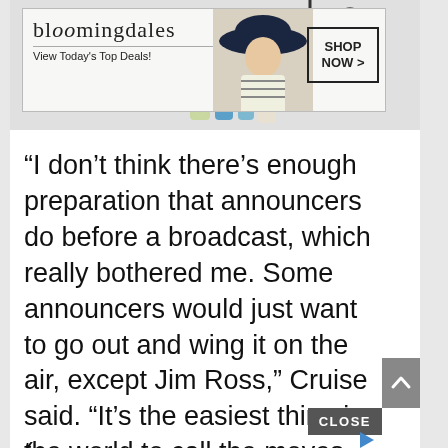[Figure (screenshot): Bloomingdales advertisement banner with logo, 'View Today's Top Deals!' tagline, a woman in a large hat, and a 'SHOP NOW >' button. Product bottles visible above the banner.]
“I don’t think there’s enough preparation that announcers do before a broadcast, which really bothered me. Some announcers would just want to go out and wing it on the air, except Jim Ross,” Cruise said. “It’s the easiest thing in the world to call the moves, but it’s really tough trying to tell a story the w
[Figure (screenshot): Gray 'CLOSE' button overlay and a blue play/ad indicator arrow icon at the bottom right of the page.]